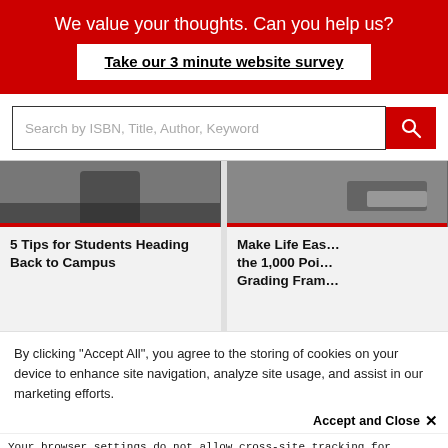We value your thoughts. Can you help us?
Take our 3 minute website survey
Search by ISBN, Title, Author, Keyword
[Figure (photo): Photo of student on campus (left card image)]
5 Tips for Students Heading Back to Campus
[Figure (photo): Photo of person working on laptop (right card image)]
Make Life Eas… the 1,000 Poi… Grading Fram…
By clicking “Accept All”, you agree to the storing of cookies on your device to enhance site navigation, analyze site usage, and assist in our marketing efforts.
Accept and Close ×
Your browser settings do not allow cross-site tracking for advertising. Click on this page to allow AdRoll to use cross-site tracking to tailor ads to you. Learn more or opt out of this AdRoll tracking by clicking here. This message only appears once.